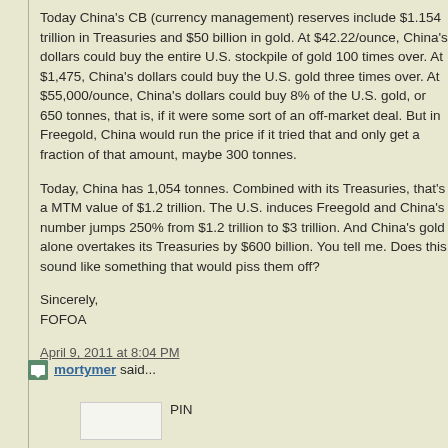Today China's CB (currency management) reserves include $1.154 trillion in Treasuries and $50 billion in gold. At $42.22/ounce, China's dollars could buy the entire U.S. stockpile of gold 100 times over. At $1,475, China's dollars could buy the U.S. gold three times over. At $55,000/ounce, China's dollars could buy 8% of the U.S. gold, or 650 tonnes, that is, if it were some sort of an off-market deal. But in Freegold, China would run the price if it tried that and only get a fraction of that amount, maybe 300 tonnes.
Today, China has 1,054 tonnes. Combined with its Treasuries, that's a MTM value of $1.2 trillion. The U.S. induces Freegold and China's number jumps 250% from $1.2 trillion to $3 trillion. And China's gold alone overtakes its Treasuries by $600 billion. You tell me. Does this sound like something that would piss them off?
Sincerely,
FOFOA
April 9, 2011 at 8:04 PM
mortymer said...
PIN
IMF Executive Board Considers Use of Gold Sale Profits